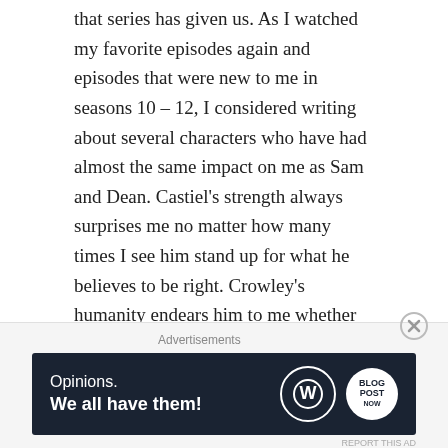that series has given us. As I watched my favorite episodes again and episodes that were new to me in seasons 10 – 12, I considered writing about several characters who have had almost the same impact on me as Sam and Dean. Castiel's strength always surprises me no matter how many times I see him stand up for what he believes to be right. Crowley's humanity endears him to me whether he's shining in a moment of kindness in the name of friendship or doing something obscenely craven because his feelings have been hurt, or he's tired of being treated as a non-threat. I did write about Lucifer a few years back, but Mark Pellegrino was only one of many Lucifer's I've loved over the years.
Advertisements
[Figure (other): WordPress advertisement banner with dark navy background reading 'Opinions. We all have them!' with WordPress logo circle and a 'NOW' branded circle on the right.]